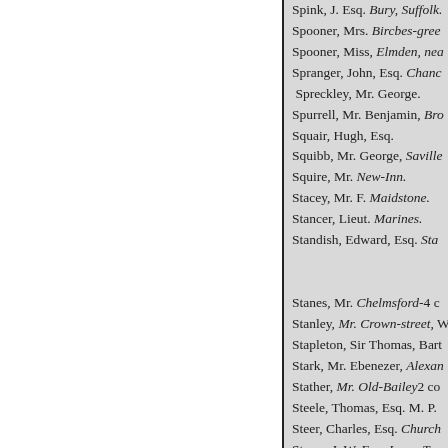Spink, J. Esq. Bury, Suffolk.
Spooner, Mrs. Bircbes-gree
Spooner, Miss, Elmden, nea
Spranger, John, Esq. Chanc
Spreckley, Mr. George.
Spurrell, Mr. Benjamin, Bro
Squair, Hugh, Esq.
Squibb, Mr. George, Saville
Squire, Mr. New-Inn.
Stacey, Mr. F. Maidstone.
Stancer, Lieut. Marines.
Standish, Edward, Esq. Sta
Stanes, Mr. Chelmsford-4 c
Stanley, Mr. Crown-street, W
Stapleton, Sir Thomas, Bart
Stark, Mr. Ebenezer, Alexan
Stather, Mr. Old-Bailey2 co
Steele, Thomas, Esq. M. P.
Steer, Charles, Esq. Church
Steers, J. W. Esq. Inner-Ten